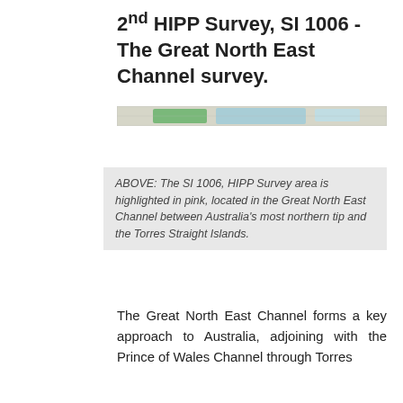2nd HIPP Survey, SI 1006 - The Great North East Channel survey.
[Figure (map): Horizontal strip showing a map of the Great North East Channel area with green and blue/teal coloring indicating land and water regions.]
ABOVE: The SI 1006, HIPP Survey area is highlighted in pink, located in the Great North East Channel between Australia's most northern tip and the Torres Straight Islands.
The Great North East Channel forms a key approach to Australia, adjoining with the Prince of Wales Channel through Torres